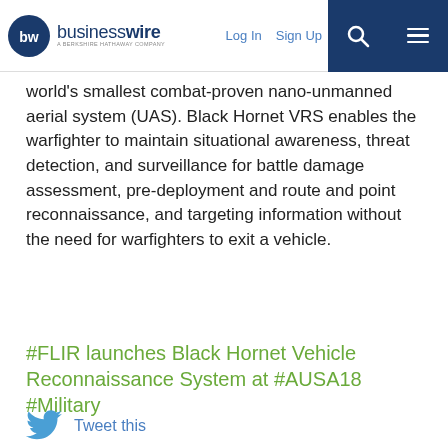businesswire — A BERKSHIRE HATHAWAY COMPANY | Log In | Sign Up
world's smallest combat-proven nano-unmanned aerial system (UAS). Black Hornet VRS enables the warfighter to maintain situational awareness, threat detection, and surveillance for battle damage assessment, pre-deployment and route and point reconnaissance, and targeting information without the need for warfighters to exit a vehicle.
#FLIR launches Black Hornet Vehicle Reconnaissance System at #AUSA18 #Military
Tweet this
By clicking "Accept All Cookies", you agree to the storing of cookies on your device to enhance site navigation, analyze site usage, and assist in our marketing efforts.  Cookie Policy
Cookies Settings | Accept All Cookies